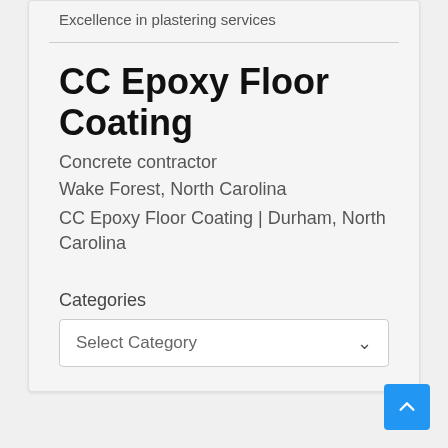Excellence in plastering services
CC Epoxy Floor Coating
Concrete contractor
Wake Forest, North Carolina
CC Epoxy Floor Coating | Durham, North Carolina
Categories
Select Category